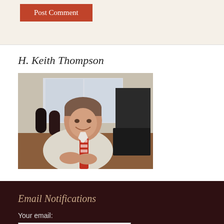[Figure (other): Post Comment button - orange/red rectangular button with white text]
H. Keith Thompson
[Figure (photo): Photo of H. Keith Thompson, a middle-aged man in a white shirt and red striped tie, smiling and sitting at a desk in an office setting]
Email Notifications
Your email: